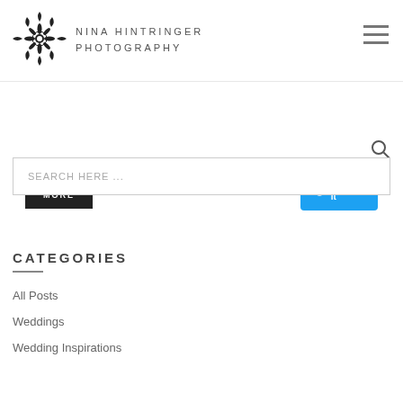NINA HINTRINGER PHOTOGRAPHY
[Figure (logo): Ornate floral/scroll decorative logo mark for Nina Hintringer Photography]
READ MORE
Twitter it
SEARCH HERE ...
CATEGORIES
All Posts
Weddings
Wedding Inspirations